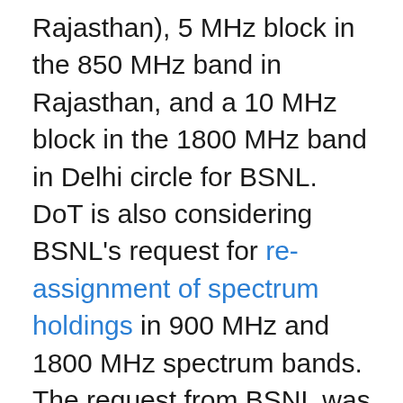Rajasthan), 5 MHz block in the 850 MHz band in Rajasthan, and a 10 MHz block in the 1800 MHz band in Delhi circle for BSNL. DoT is also considering BSNL's request for re-assignment of spectrum holdings in 900 MHz and 1800 MHz spectrum bands. The request from BSNL was put in after BSNL and MTNL in January 2021 surrendered spectrum in the 900 MHz and 1800 MHz band amounting to 58.8 MHz.